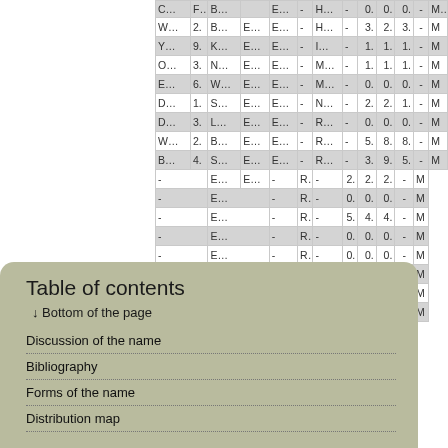| C… | F… | B… | E… | E… | - | H… | - | 0. | 0. | 0. | - | M… |
| --- | --- | --- | --- | --- | --- | --- | --- | --- | --- | --- | --- | --- |
| W… | 2. | B… | E… | E… | - | H… | - | 3. | 2. | 3. | - | M |
| Y… | 9. | K… | E… | E… | - | I… | - | 1. | 1. | 1. | - | M |
| O… | 3. | N… | E… | E… | - | M… | - | 1. | 1. | 1. | - | M |
| E… | 6. | W… | E… | E… | - | M… | - | 0. | 0. | 0. | - | M |
| D… | 1. | S… | E… | E… | - | N… | - | 2. | 2. | 1. | - | M |
| D… | 3. | L… | E… | E… | - | R… | - | 0. | 0. | 0. | - | M |
| W… | 2. | B… | E… | E… | - | R… | - | 5. | 8. | 8. | - | M |
| B… | 4. | S… | E… | E… | - | R… | - | 3. | 9. | 5. | - | M |
| - | - | E… | E… | - | R… | - | 2. | 2. | 2. | - | M |
| - | - | E… | - | R… | - | 0. | 0. | 0. | - | M |
| - | - | E… | - | R… | - | 5. | 4. | 4. | - | M |
| - | - | E… | - | R… | - | 0. | 0. | 0. | - | M |
| - | - | E… | - | R… | - | 0. | 0. | 0. | - | M |
| - | - | E… | - | R… | - | 0. | 0. | 0. | - | M |
| - | - | E… | - | R… | - | 0. | 0. | 0. | - | M |
| - | - | E… | - | R… | - | 0. | 0. | 0. | - | M |
Table of contents
↓ Bottom of the page
Discussion of the name
Bibliography
Forms of the name
Distribution map